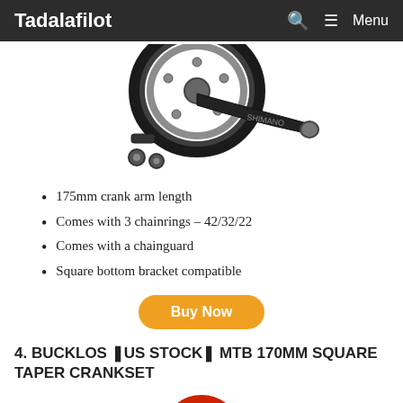Tadalafilot   🔍   ≡ Menu
[Figure (photo): Product photo of a Shimano crankset with chainrings and crank arm, shown disassembled with bolts and components.]
175mm crank arm length
Comes with 3 chainrings – 42/32/22
Comes with a chainguard
Square bottom bracket compatible
Buy Now
4. BUCKLOS [US STOCK] MTB 170MM SQUARE TAPER CRANKSET
[Figure (photo): Partial product photo of BUCKLOS crankset with red chainring, cropped at bottom of page.]